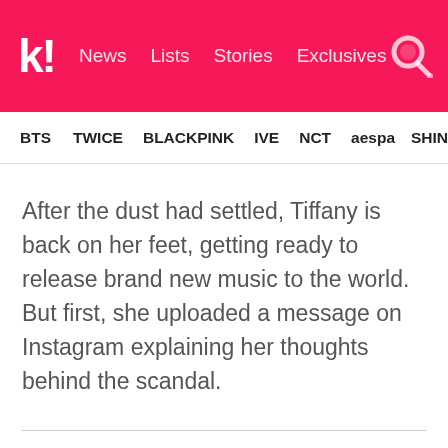k! News  Lists  Stories  Exclusives
BTS  TWICE  BLACKPINK  IVE  NCT  aespa  SHINee
After the dust had settled, Tiffany is back on her feet, getting ready to release brand new music to the world. But first, she uploaded a message on Instagram explaining her thoughts behind the scandal.
[Figure (screenshot): Embedded Instagram post card with quote mark, blurred username and handle bars, and avatar circle placeholder]